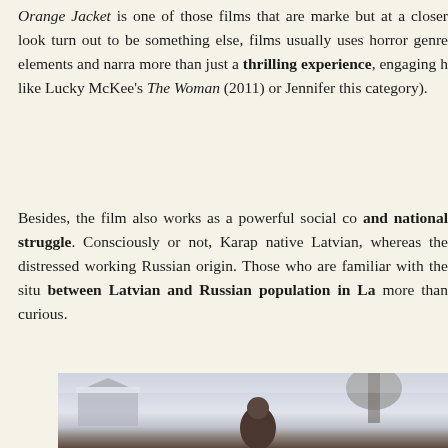Orange Jacket is one of those films that are marked but at a closer look turn out to be something else, films usually uses horror genre elements and narra more than just a thrilling experience, engaging h like Lucky McKee's The Woman (2011) or Jennifer this category).
Besides, the film also works as a powerful social co and national struggle. Consciously or not, Karap native Latvian, whereas the distressed working Russian origin. Those who are familiar with the situ between Latvian and Russian population in La more than curious.
[Figure (photo): A film still showing a snowy winter outdoor scene with a figure in dark clothing, appearing to be from the film being discussed.]